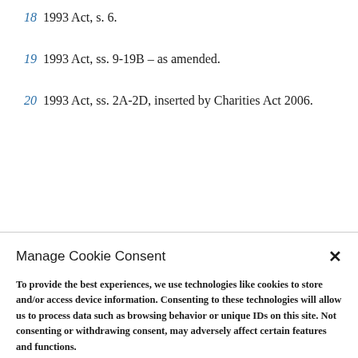18 1993 Act, s. 6.
19 1993 Act, ss. 9-19B – as amended.
20 1993 Act, ss. 2A-2D, inserted by Charities Act 2006.
Manage Cookie Consent
To provide the best experiences, we use technologies like cookies to store and/or access device information. Consenting to these technologies will allow us to process data such as browsing behavior or unique IDs on this site. Not consenting or withdrawing consent, may adversely affect certain features and functions.
ACCEPT
DENY
Privacy Policy & Terms of Use